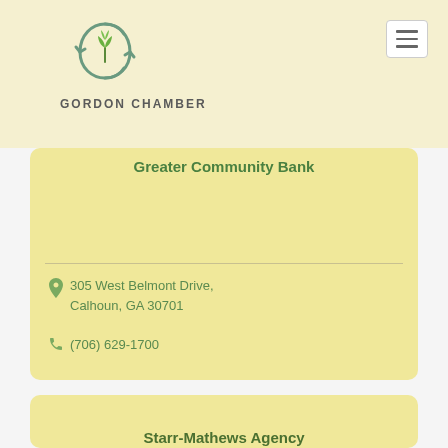[Figure (logo): Gordon Chamber of Commerce logo with circular arrow design and green leaf, text reading GORDON CHAMBER]
Greater Community Bank
305 West Belmont Drive, Calhoun, GA 30701
(706) 629-1700
Starr-Mathews Agency